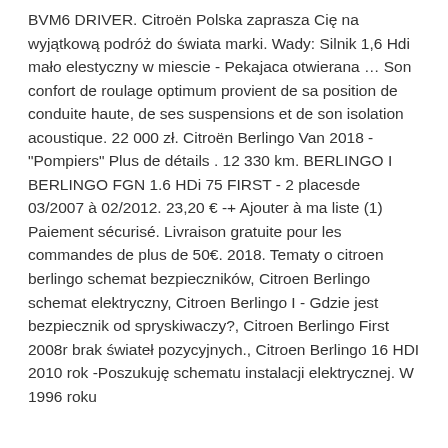BVM6 DRIVER. Citroën Polska zaprasza Cię na wyjątkową podróż do świata marki. Wady: Silnik 1,6 Hdi mało elestyczny w miescie - Pekajaca otwierana … Son confort de roulage optimum provient de sa position de conduite haute, de ses suspensions et de son isolation acoustique. 22 000 zł. Citroën Berlingo Van 2018 - "Pompiers" Plus de détails . 12 330 km. BERLINGO I BERLINGO FGN 1.6 HDi 75 FIRST - 2 placesde 03/2007 à 02/2012. 23,20 € -+ Ajouter à ma liste (1) Paiement sécurisé. Livraison gratuite pour les commandes de plus de 50€. 2018. Tematy o citroen berlingo schemat bezpieczników, Citroen Berlingo schemat elektryczny, Citroen Berlingo I - Gdzie jest bezpiecznik od spryskiwaczy?, Citroen Berlingo First 2008r brak świateł pozycyjnych., Citroen Berlingo 16 HDI 2010 rok -Poszukuję schematu instalacji elektrycznej. W 1996 roku